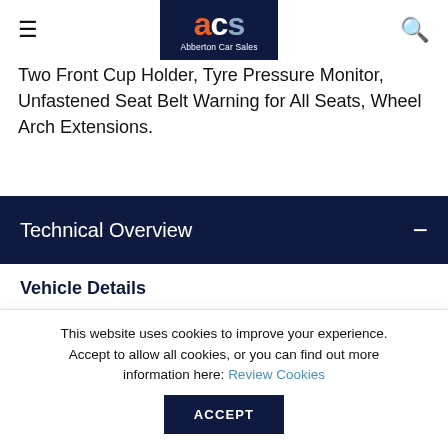ACS Abberton Car Sales
Two Front Cup Holder, Tyre Pressure Monitor, Unfastened Seat Belt Warning for All Seats, Wheel Arch Extensions.
Technical Overview
Vehicle Details
| Make | Citroen |
This website uses cookies to improve your experience. Accept to allow all cookies, or you can find out more information here: Review Cookies ACCEPT